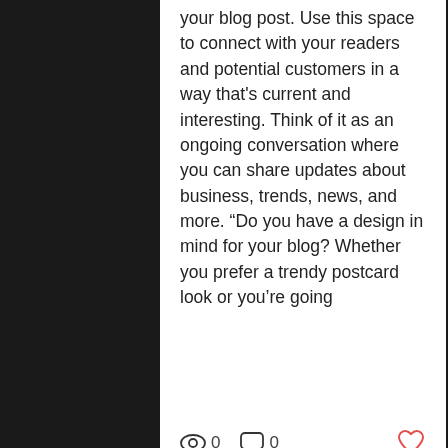your blog post. Use this space to connect with your readers and potential customers in a way that's current and interesting. Think of it as an ongoing conversation where you can share updates about business, trends, news, and more. “Do you have a design in mind for your blog? Whether you prefer a trendy postcard look or you’re going
[Figure (other): Icons row: eye icon with count 0, comment bubble icon with count 0, heart icon (red outline)]
[Figure (photo): Black and white photograph of a photography studio interior with large umbrella light reflectors on stands, tripods, chairs, and tall windows]